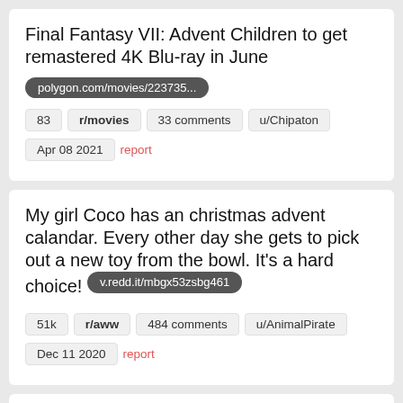Final Fantasy VII: Advent Children to get remastered 4K Blu-ray in June
polygon.com/movies/223735...
83  r/movies  33 comments  u/Chipaton
Apr 08 2021  report
My girl Coco has an christmas advent calandar. Every other day she gets to pick out a new toy from the bowl. It's a hard choice!  v.redd.it/mbgx53zsbg461
51k  r/aww  484 comments  u/AnimalPirate
Dec 11 2020  report
With the advent of 150% EZAs starting to